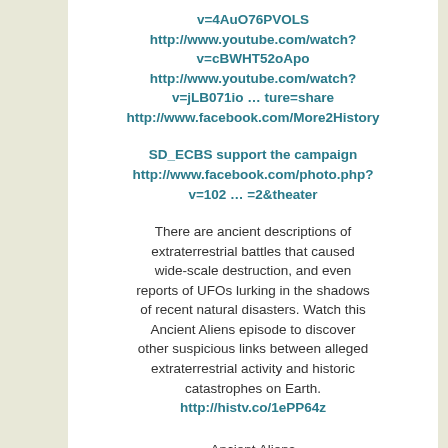http://www.youtube.com/watch?v=cBWHT52oApo http://www.youtube.com/watch?v=jLB071io … ture=share http://www.facebook.com/More2History
SD_ECBS support the campaign http://www.facebook.com/photo.php?v=102 … =2&theater
There are ancient descriptions of extraterrestrial battles that caused wide-scale destruction, and even reports of UFOs lurking in the shadows of recent natural disasters. Watch this Ancient Aliens episode to discover other suspicious links between alleged extraterrestrial activity and historic catastrophes on Earth. http://histv.co/1ePP64z
Ancient Aliens
Friday: Ancient Aliens Season Premiere on H2 at 10/9c
More theories, more evidence, more #AncientAliens. Watch the season six premiere of Ancient Aliens on H2 this Friday at 10/9c. Catch up before during Close Encounters Week, watching